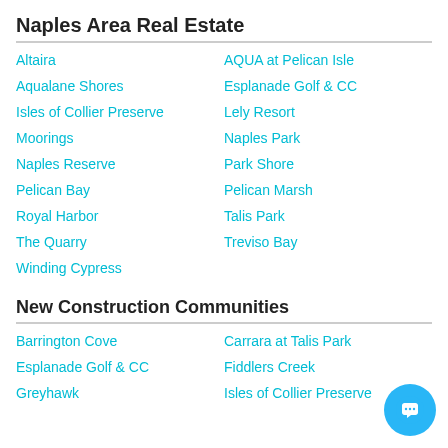Naples Area Real Estate
Altaira
AQUA at Pelican Isle
Aqualane Shores
Esplanade Golf & CC
Isles of Collier Preserve
Lely Resort
Moorings
Naples Park
Naples Reserve
Park Shore
Pelican Bay
Pelican Marsh
Royal Harbor
Talis Park
The Quarry
Treviso Bay
Winding Cypress
New Construction Communities
Barrington Cove
Carrara at Talis Park
Esplanade Golf & CC
Fiddlers Creek
Greyhawk
Isles of Collier Preserve